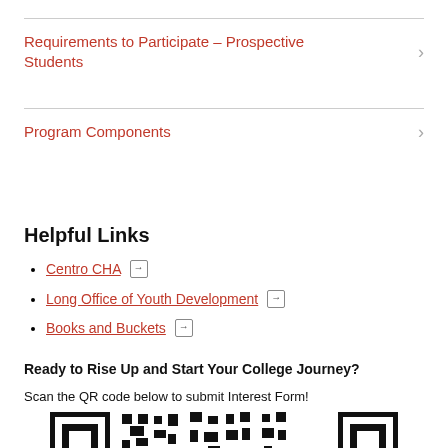Requirements to Participate – Prospective Students
Program Components
Helpful Links
Centro CHA →
Long Office of Youth Development →
Books and Buckets →
Ready to Rise Up and Start Your College Journey?
Scan the QR code below to submit Interest Form!
[Figure (other): QR code for submitting an interest form, partially visible at the bottom of the page]